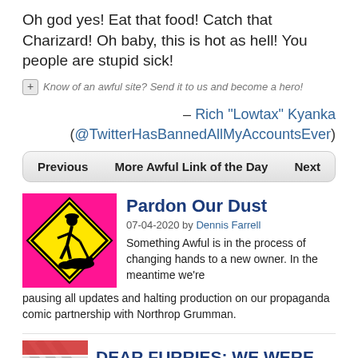Oh god yes! Eat that food! Catch that Charizard! Oh baby, this is hot as hell! You people are stupid sick!
Know of an awful site? Send it to us and become a hero!
– Rich "Lowtax" Kyanka (@TwitterHasBannedAllMyAccountsEver)
Previous   More Awful Link of the Day   Next
Pardon Our Dust
07-04-2020 by Dennis Farrell
Something Awful is in the process of changing hands to a new owner. In the meantime we're pausing all updates and halting production on our propaganda comic partnership with Northrop Grumman.
DEAR FURRIES: WE WERE WRONG